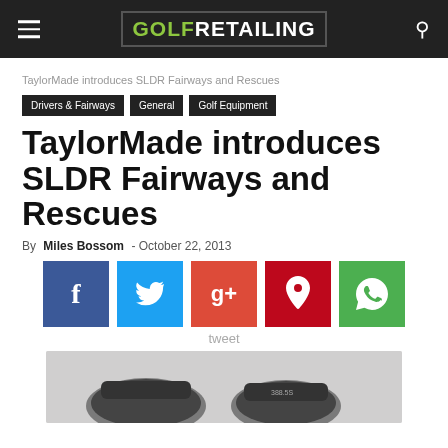GOLF RETAILING
TaylorMade introduces SLDR Fairways and Rescues
Drivers & Fairways
General
Golf Equipment
TaylorMade introduces SLDR Fairways and Rescues
By Miles Bossom - October 22, 2013
[Figure (infographic): Social sharing buttons: Facebook, Twitter, Google+, Pinterest, WhatsApp]
tweet
[Figure (photo): Photo of TaylorMade SLDR fairway woods and rescue clubs]